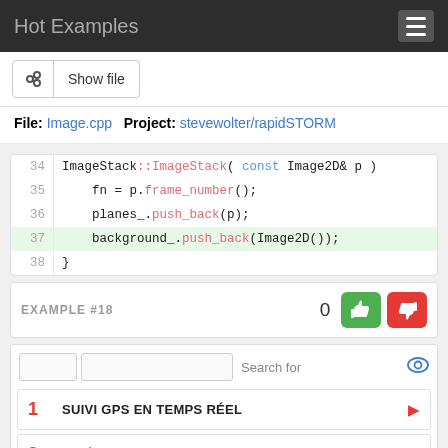Hot Examples
File: Image.cpp   Project: stevewolter/rapidSTORM
[Figure (screenshot): Code block showing lines 34-38 of ImageStack constructor in C++, with line 37 highlighted in green. Line 34: ImageStack::ImageStack( const Image2D& p ), Line 35: fn = p.frame_number();, Line 36: planes_.push_back(p);, Line 37: background_.push_back(Image2D());, Line 38: }]
EXAMPLE #18  0 [thumbs up] [thumbs down]
Search for
1  SUIVI GPS EN TEMPS RÉEL
2  VIDÉO EN STREAMING GRATUITE